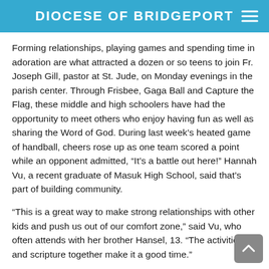DIOCESE OF BRIDGEPORT
Forming relationships, playing games and spending time in adoration are what attracted a dozen or so teens to join Fr. Joseph Gill, pastor at St. Jude, on Monday evenings in the parish center. Through Frisbee, Gaga Ball and Capture the Flag, these middle and high schoolers have had the opportunity to meet others who enjoy having fun as well as sharing the Word of God. During last week's heated game of handball, cheers rose up as one team scored a point while an opponent admitted, “It’s a battle out here!” Hannah Vu, a recent graduate of Masuk High School, said that’s part of building community.
“This is a great way to make strong relationships with other kids and push us out of our comfort zone,” said Vu, who often attends with her brother Hansel, 13. “The activities and scripture together make it a good time.”
Christopher Iturralde, an incoming 8th grader at Cardinal King Academy, agrees. “It’s interactive and open,” he said. “Reading the Bible and responding to questions help deepen my faith